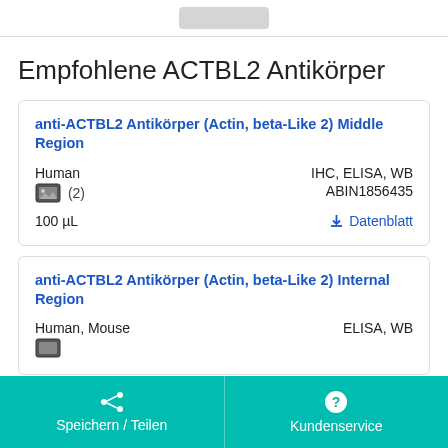[Figure (screenshot): Top navigation bar with a rounded button element, partially visible]
Empfohlene ACTBL2 Antikörper
anti-ACTBL2 Antikörper (Actin, beta-Like 2) Middle Region
Human
(2)
100 µL
IHC, ELISA, WB
ABIN1856435
Datenblatt
anti-ACTBL2 Antikörper (Actin, beta-Like 2) Internal Region
Human, Mouse
ELISA, WB
Speichern / Teilen
Kundenservice